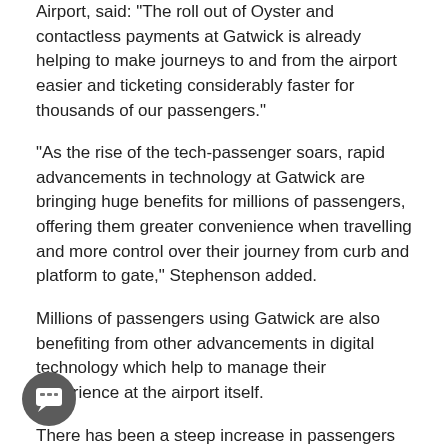Airport, said: "The roll out of Oyster and contactless payments at Gatwick is already helping to make journeys to and from the airport easier and ticketing considerably faster for thousands of our passengers."
"As the rise of the tech-passenger soars, rapid advancements in technology at Gatwick are bringing huge benefits for millions of passengers, offering them greater convenience when travelling and more control over their journey from curb and platform to gate," Stephenson added.
Millions of passengers using Gatwick are also benefiting from other advancements in digital technology which help to manage their experience at the airport itself.
There has been a steep increase in passengers using online check-in, self-service bag drops, mobile boarding passes and e-passport gates services, with the number of passengers checking-in online jumping from 33% in 2010